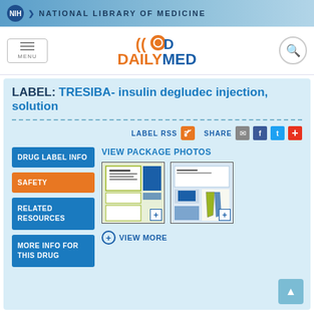NIH NATIONAL LIBRARY OF MEDICINE
[Figure (logo): DailyMed logo with orange pill icon and orange/blue text]
LABEL: TRESIBA- insulin degludec injection, solution
LABEL RSS   SHARE
VIEW PACKAGE PHOTOS
[Figure (screenshot): Package photo thumbnail 1 - drug package box layout with blue and green elements]
[Figure (screenshot): Package photo thumbnail 2 - drug package insert with injection pen]
+ VIEW MORE
DRUG LABEL INFO
SAFETY
RELATED RESOURCES
MORE INFO FOR THIS DRUG